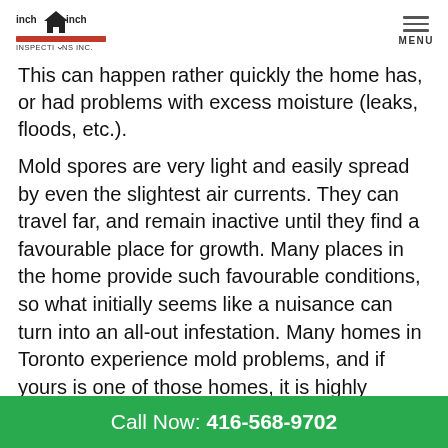[Figure (logo): Inch by Inch Inspections Inc. logo with a house icon]
This can happen rather quickly the home has, or had problems with excess moisture (leaks, floods, etc.).
Mold spores are very light and easily spread by even the slightest air currents. They can travel far, and remain inactive until they find a favourable place for growth. Many places in the home provide such favourable conditions, so what initially seems like a nuisance can turn into an all-out infestation. Many homes in Toronto experience mold problems, and if yours is one of those homes, it is highly advised to seek help from a professional mold remediation company.
Call Now: 416-568-9702